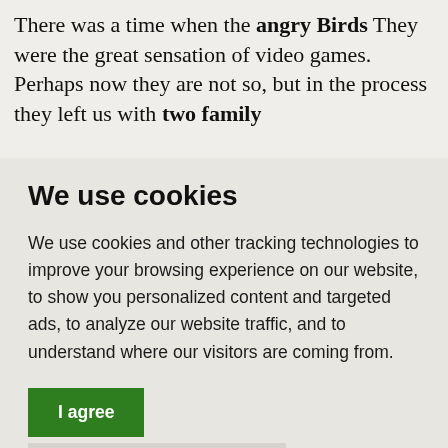There was a time when the angry Birds They were the great sensation of video games. Perhaps now they are not so, but in the process they left us with two family
We use cookies
We use cookies and other tracking technologies to improve your browsing experience on our website, to show you personalized content and targeted ads, to analyze our website traffic, and to understand where our visitors are coming from.
I agree
Change my preferences